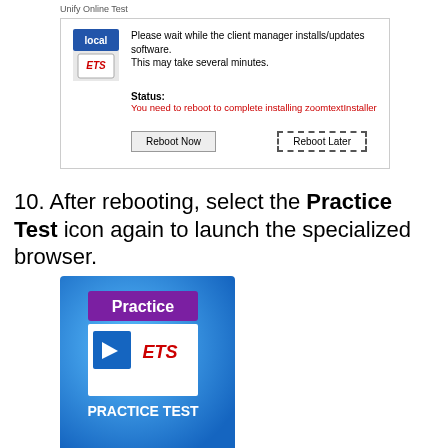Unify Online Test
[Figure (screenshot): Screenshot of a dialog box titled with ETS local icon showing message: Please wait while the client manager installs/updates software. This may take several minutes. Status: You need to reboot to complete installing zoomtextInstaller. Buttons: Reboot Now and Reboot Later.]
10. After rebooting, select the Practice Test icon again to launch the specialized browser.
[Figure (screenshot): Blue background icon with purple Practice label, ETS logo, and text PRACTICE TEST at bottom]